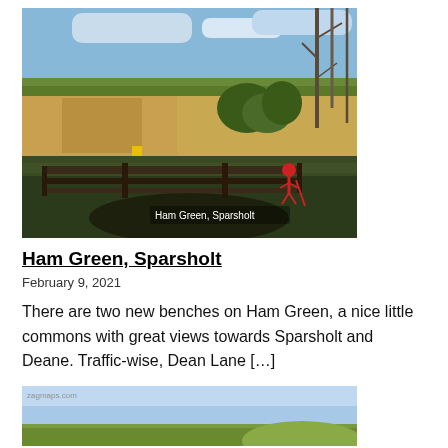[Figure (photo): Outdoor countryside scene at Ham Green, Sparsholt. A wooden fence crosses the foreground on frosty grass, with a red hiking figure sign on the right. Beyond the fence are open fields under a blue sky with bare trees. A caption overlay reads 'Ham Green, Sparsholt'.]
Ham Green, Sparsholt
February 9, 2021
There are two new benches on Ham Green, a nice little commons with great views towards Sparsholt and Deane. Traffic-wise, Dean Lane […]
[Figure (photo): Partial view of a second image showing a coastal or hillside landscape with blue sky and green slopes, with a zagmaps.com watermark in the top-left corner.]